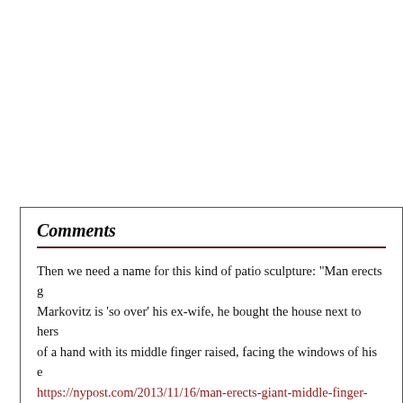Comments
Then we need a name for this kind of patio sculpture: "Man erects giant middle finger next door to ex-wife" — Markovitz is 'so over' his ex-wife, he bought the house next to hers and erected a 12-foot statue of a hand with its middle finger raised, facing the windows of his ex. https://nypost.com/2013/11/16/man-erects-giant-middle-finger-nex...
Posted by Virtual in Carnate on 05/26/22 at 01:11 PM